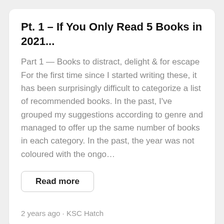Pt. 1 – If You Only Read 5 Books in 2021...
Part 1 — Books to distract, delight & for escape For the first time since I started writing these, it has been surprisingly difficult to categorize a list of recommended books. In the past, I've grouped my suggestions according to genre and managed to offer up the same number of books in each category. In the past, the year was not coloured with the ongo…
Read more
2 years ago · KSC Hatch
The Blog of KSCHatch